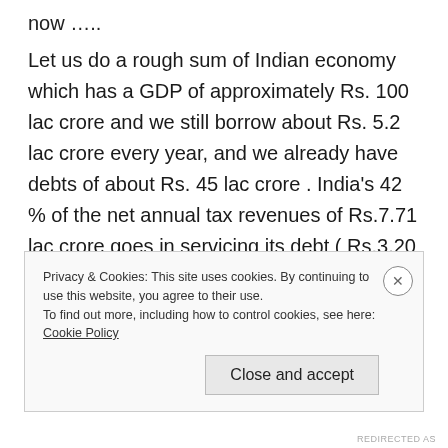leadership we must have made it the top by now …..
Let us do a rough sum of Indian economy which has a GDP of approximately Rs. 100 lac crore and we still borrow about Rs. 5.2 lac crore every year, and we already have debts of about Rs. 45 lac crore . India's 42 % of the net annual tax revenues of Rs.7.71 lac crore goes in servicing its debt ( Rs.3.20 lac crore ). Another 25 % goes in subsidies ( Rs.1.90 lac crore ) – an annual
Privacy & Cookies: This site uses cookies. By continuing to use this website, you agree to their use.
To find out more, including how to control cookies, see here: Cookie Policy
Close and accept